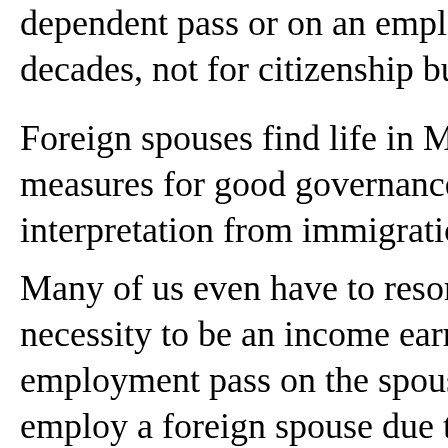dependent pass or on an employment pass for decades, not for citizenship but for a
Foreign spouses find life in Malaysia restricted by measures for good governance. The lack of consistent interpretation from immigration officers
Many of us even have to resort to meet the necessity to be an income earner. Some employment pass on the spouse visa to employ a foreign spouse due to the terms paid up capital of over RM200K can employ some measly sum as token salary. Wh